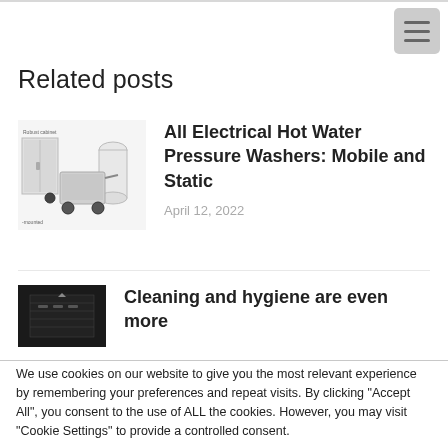Related posts
[Figure (photo): Photo of hot water pressure washers equipment including a cabinet unit and mobile washer units with wheels, labeled 'Robust cabinet' and '-mounted']
All Electrical Hot Water Pressure Washers: Mobile and Static
April 12, 2022
[Figure (photo): Small dark thumbnail image of cleaning equipment]
Cleaning and hygiene are even more
We use cookies on our website to give you the most relevant experience by remembering your preferences and repeat visits. By clicking "Accept All", you consent to the use of ALL the cookies. However, you may visit "Cookie Settings" to provide a controlled consent.